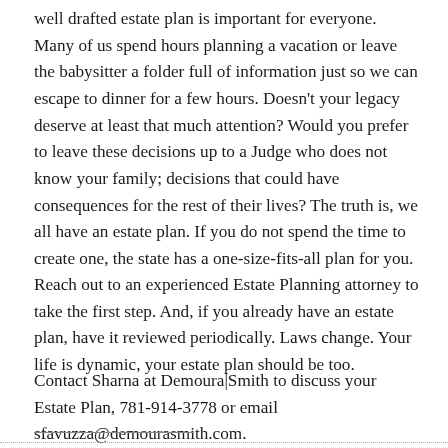well drafted estate plan is important for everyone. Many of us spend hours planning a vacation or leave the babysitter a folder full of information just so we can escape to dinner for a few hours. Doesn't your legacy deserve at least that much attention? Would you prefer to leave these decisions up to a Judge who does not know your family; decisions that could have consequences for the rest of their lives? The truth is, we all have an estate plan. If you do not spend the time to create one, the state has a one-size-fits-all plan for you.
Reach out to an experienced Estate Planning attorney to take the first step. And, if you already have an estate plan, have it reviewed periodically. Laws change. Your life is dynamic, your estate plan should be too.
Contact Sharna at Demoura|Smith to discuss your Estate Plan, 781-914-3778 or email sfavuzza@demourasmith.com.